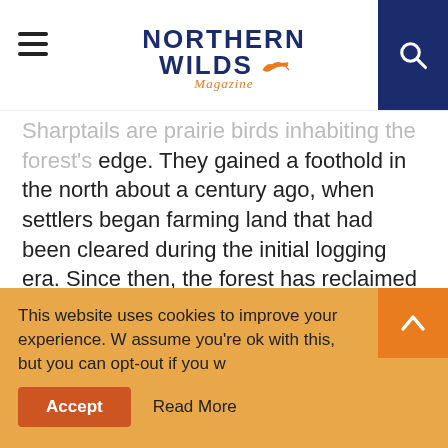NORTHERN WILDS Magazine
Sharptails are prairie birds inhabiting the forest's edge. They gained a foothold in the north about a century ago, when settlers began farming land that had been cleared during the initial logging era. Since then, the forest has reclaimed most of the open ground, leaving sharptails with greatly diminished habitat. Ongoing brushing and burning are required to maintain the large openings necessary for the birds to persist. That necessitates continued attention from wildlife managers and funding allocations adequate to do the work.
This website uses cookies to improve your experience. We assume you're ok with this, but you can opt-out if you wish.